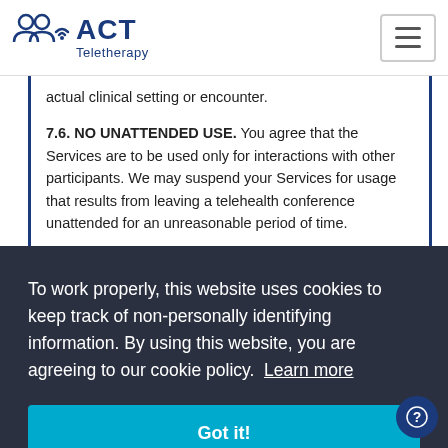ACT Teletherapy
actual clinical setting or encounter.
7.6. NO UNATTENDED USE. You agree that the Services are to be used only for interactions with other participants. We may suspend your Services for usage that results from leaving a telehealth conference unattended for an unreasonable period of time.
To work properly, this website uses cookies to keep track of non-personally identifying information. By using this website, you are agreeing to our cookie policy. Learn more
Got it!
computer systems; (d) attempt to probe, scan or